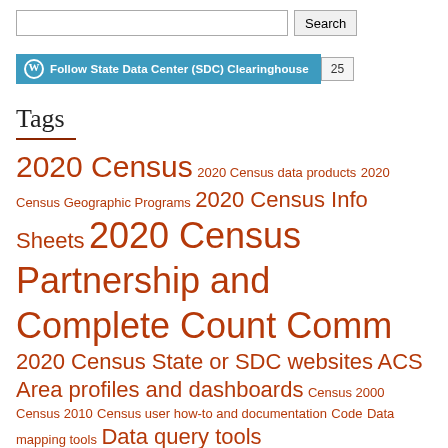[Figure (screenshot): Search input box with Search button]
[Figure (screenshot): WordPress Follow button for State Data Center (SDC) Clearinghouse with follower count 25]
Tags
2020 Census 2020 Census data products 2020 Census Geographic Programs 2020 Census Info Sheets 2020 Census Partnership and Complete Count Comm 2020 Census State or SDC websites ACS Area profiles and dashboards Census 2000 Census 2010 Census user how-to and documentation Code Data mapping tools Data query tools Downloadable datasets Elections Plan to Plan Presentations and webinars Reports SDC or Census homepage
Categories